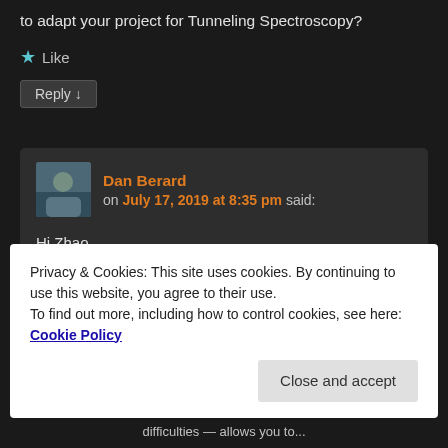to adapt your project for Tunneling Spectroscopy?
★ Like
Reply ↓
Dan Berard on July 17, 2019 at 8:35 pm said:
Hi Zhao,
I'm actually working on adding spectroscopy capabilities. I've
Privacy & Cookies: This site uses cookies. By continuing to use this website, you agree to their use.
To find out more, including how to control cookies, see here: Cookie Policy
Close and accept